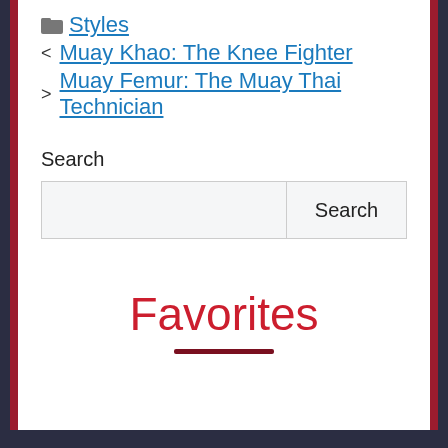Styles
< Muay Khao: The Knee Fighter
> Muay Femur: The Muay Thai Technician
Search
Favorites